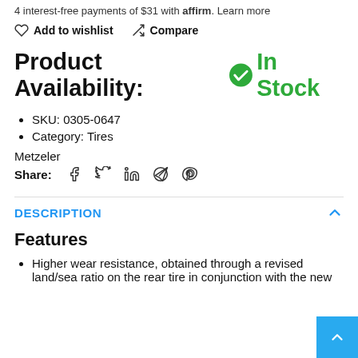4 interest-free payments of $31 with Affirm. Learn more
Add to wishlist  Compare
Product Availability: In Stock
SKU: 0305-0647
Category: Tires
Metzeler
Share:
DESCRIPTION
Features
Higher wear resistance, obtained through a revised land/sea ratio on the rear tire in conjunction with the new